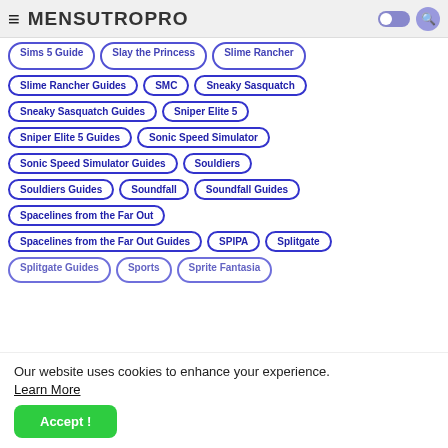MENSUTROPRO
Sims 5 Guide
Slay the Princess
Slime Rancher
Slime Rancher Guides
SMC
Sneaky Sasquatch
Sneaky Sasquatch Guides
Sniper Elite 5
Sniper Elite 5 Guides
Sonic Speed Simulator
Sonic Speed Simulator Guides
Souldiers
Souldiers Guides
Soundfall
Soundfall Guides
Spacelines from the Far Out
Spacelines from the Far Out Guides
SPIPA
Splitgate
Splitgate Guides
Sports
Sprite Fantasia
Our website uses cookies to enhance your experience. Learn More
Accept !